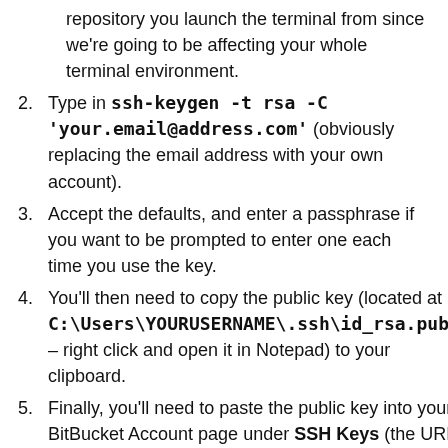repository you launch the terminal from since we're going to be affecting your whole terminal environment.
Type in ssh-keygen -t rsa -C 'your.email@address.com' (obviously replacing the email address with your own account).
Accept the defaults, and enter a passphrase if you want to be prompted to enter one each time you use the key.
You'll then need to copy the public key (located at C:\Users\YOURUSERNAME\.ssh\id_rsa.pub – right click and open it in Notepad) to your clipboard.
Finally, you'll need to paste the public key into your BitBucket Account page under SSH Keys (the URL will be something like https://bitbucket.org/account/user/YOURUSERAME/ssh-keys/).